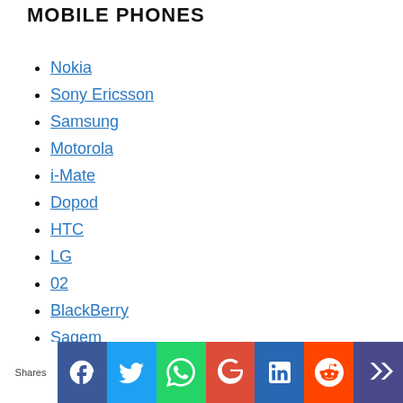MOBILE PHONES
Nokia
Sony Ericsson
Samsung
Motorola
i-Mate
Dopod
HTC
LG
02
BlackBerry
Sagem
Haier
palmOne
Shares [social share bar: Facebook, Twitter, WhatsApp, Google+, LinkedIn, Reddit, crown icon]